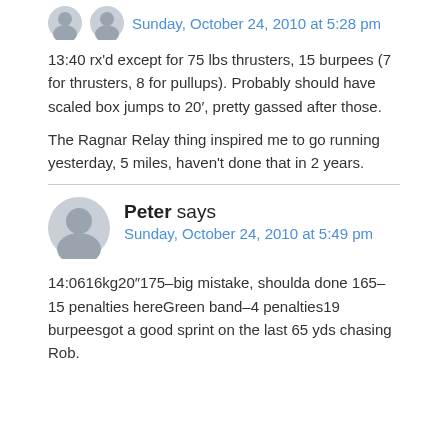Sunday, October 24, 2010 at 5:28 pm
13:40 rx'd except for 75 lbs thrusters, 15 burpees (7 for thrusters, 8 for pullups). Probably should have scaled box jumps to 20′, pretty gassed after those.
The Ragnar Relay thing inspired me to go running yesterday, 5 miles, haven't done that in 2 years.
Peter says
Sunday, October 24, 2010 at 5:49 pm
14:0616kg20″175–big mistake, shoulda done 165–15 penalties hereGreen band–4 penalties19 burpeesgot a good sprint on the last 65 yds chasing Rob.